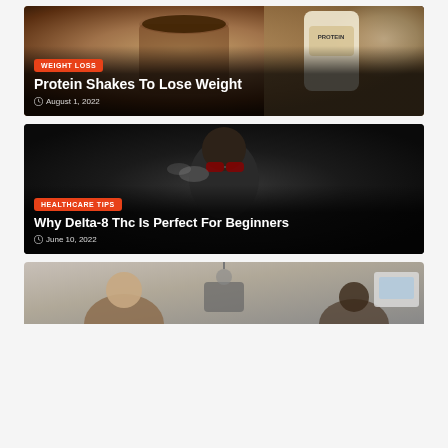[Figure (photo): Protein shake in glass with chocolate powder on top, next to a protein powder container]
WEIGHT LOSS
Protein Shakes To Lose Weight
August 1, 2022
[Figure (photo): Man wearing sunglasses smoking/vaping, dark background]
HEALTHCARE TIPS
Why Delta-8 Thc Is Perfect For Beginners
June 10, 2022
[Figure (photo): Doctor and patient in a medical office setting]